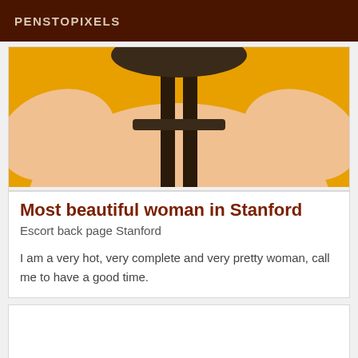PENSTOPIXELS
[Figure (photo): Photo of a person's torso and arms wrapped around a dark stool against a yellow/orange background]
Most beautiful woman in Stanford
Escort back page Stanford
I am a very hot, very complete and very pretty woman, call me to have a good time.